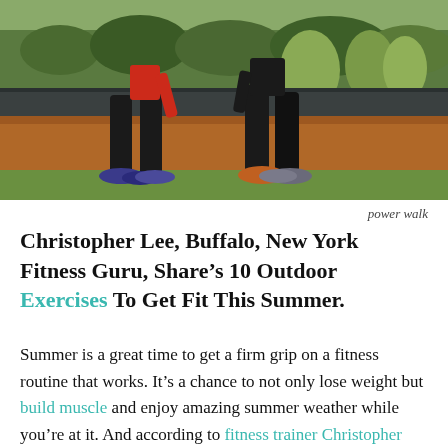[Figure (photo): Two people power walking on a track path outdoors, wearing athletic clothing and running shoes, with green plants and a low wall visible in the background.]
power walk
Christopher Lee, Buffalo, New York Fitness Guru, Share’s 10 Outdoor Exercises To Get Fit This Summer.
Summer is a great time to get a firm grip on a fitness routine that works. It’s a chance to not only lose weight but build muscle and enjoy amazing summer weather while you’re at it. And according to fitness trainer Christopher Lee in Buffalo, New York, several outdoor exercises effectively burn